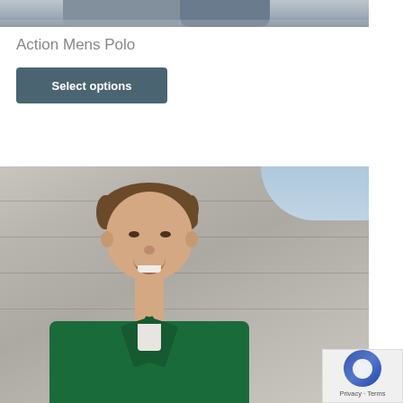[Figure (photo): Top portion of a photo showing a person's lower body in jeans/casual clothing, cropped at top of page]
Action Mens Polo
Select options
[Figure (photo): A smiling young boy with brown hair wearing a dark green polo shirt, standing against a concrete wall background]
Privacy - Terms